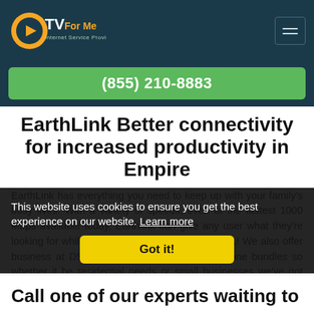[Figure (logo): CTVForMe Internet Service Providers logo - orange C with play button, white TV text, orange ForMe text, white Internet Service Providers subtitle]
(855) 210-8883
EarthLink Better connectivity for increased productivity in Empire
EarthLink has everything you need to keep up with your family's busy lives. With a variety of speeds, even at the fastest 1000 Mbps available today, Earthlink can give any user what they're looking for while still being in Empire and near AL! We also offer business at DSL products as well as TV & phone bundles so whether it be residential needs or small businesses we've got something that works.
This website uses cookies to ensure you get the best experience on our website. Learn more
Got it!
Call one of our experts waiting to